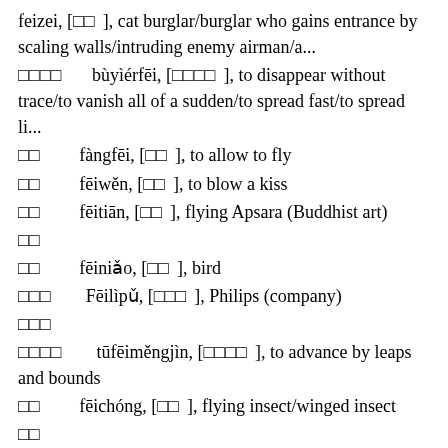feizei, [□□], cat burglar/burglar who gains entrance by scaling walls/intruding enemy airman/a...
□□□□  bùyiérfēi, [□□□□], to disappear without trace/to vanish all of a sudden/to spread fast/to spread li...
□□  fàngfēi, [□□], to allow to fly
□□  fēiwěn, [□□], to blow a kiss
□□  fēitiān, [□□], flying Apsara (Buddhist art)
□□
□□  fēiniǎo, [□□], bird
□□□  Fēilìpǔ, [□□□], Philips (company)
□□□
□□□□  tūfēiměngjìn, [□□□□], to advance by leaps and bounds
□□  fēichóng, [□□], flying insect/winged insect
□□